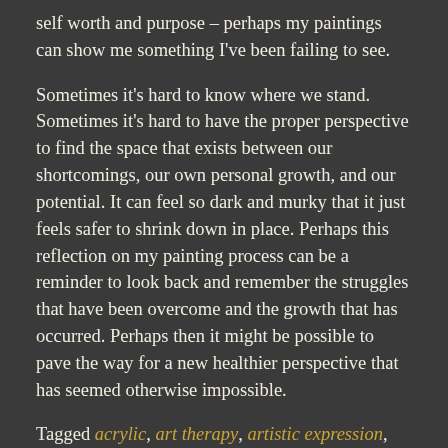self worth and purpose – perhaps my paintings can show me something I've been failing to see.
Sometimes it's hard to know where we stand. Sometimes it's hard to have the proper perspective to find the space that exists between our shortcomings, our own personal growth, and our potential. It can feel so dark and murky that it just feels safer to shrink down in place. Perhaps this reflection on my painting process can be a reminder to look back and remember the struggles that have been overcome and the growth that has occurred. Perhaps then it might be possible to pave the way for a new healthier perspective that has seemed otherwise impossible.
Tagged acrylic, art therapy, artistic expression, half dome, inspiration, introspection, merced river, nature, painting, personal growth, perspective,